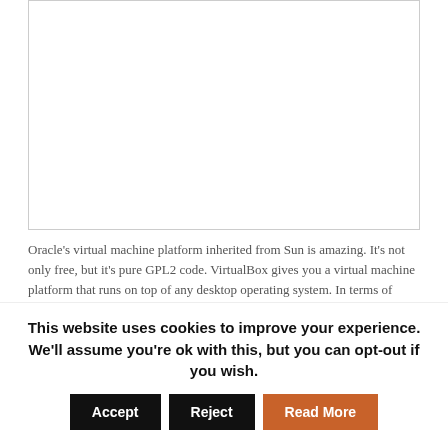[Figure (screenshot): White rectangular image/screenshot area with a thin border]
Oracle's virtual machine platform inherited from Sun is amazing. It's not only free, but it's pure GPL2 code. VirtualBox gives you a virtual machine platform that runs on top of any desktop operating system. In terms of limitations, we haven't found any. We can...
This website uses cookies to improve your experience. We'll assume you're ok with this, but you can opt-out if you wish.
Accept  Reject  Read More